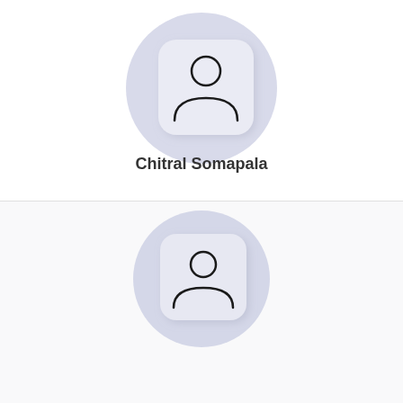[Figure (illustration): Neumorphic user avatar icon: a large light lavender circle with a rounded square card slightly offset, containing a person silhouette icon in outline style]
Chitral Somapala
[Figure (illustration): Second neumorphic user avatar icon: same style as above, slightly smaller, in the bottom section of the page]